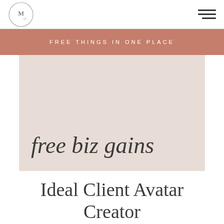M co [logo]
FREE THINGS IN ONE PLACE
[Figure (illustration): Beige/tan card with cursive script text reading 'free biz gains']
Ideal Client Avatar Creator